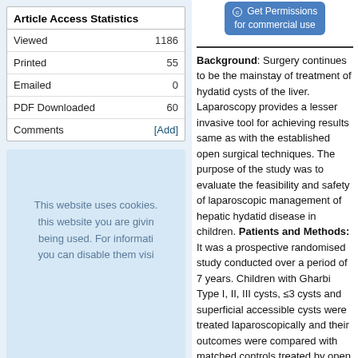|  |  |
| --- | --- |
| Viewed | 1186 |
| Printed | 55 |
| Emailed | 0 |
| PDF Downloaded | 60 |
| Comments | [Add] |
This website uses cookies. By continuing to use this website you are giving consent to cookies being used. For information on cookies and how you can disable them visit...
Recommend this journal for your library
[Figure (other): Get Permissions for commercial use button]
Background: Surgery continues to be the mainstay of treatment of hydatid cysts of the liver. Laparoscopy provides a lesser invasive tool for achieving results same as with the established open surgical techniques. The purpose of the study was to evaluate the feasibility and safety of laparoscopic management of hepatic hydatid disease in children. Patients and Methods: It was a prospective randomised study conducted over a period of 7 years. Children with Gharbi Type I, II, III cysts, ≤3 cysts and superficial accessible cysts were treated laparoscopically and their outcomes were compared with matched controls treated by open approach. Results: Sixty patients were included in the study with thirty patients in each matched group. Thirty paediatric patients (male 12:female 18) with 35 liver hydatid cysts underwent laparoscopic surgery. The mean cyst size was 8.8 ± 2.39 cm. Two patients needed conversion to open. No significant spillage of cyst contents was